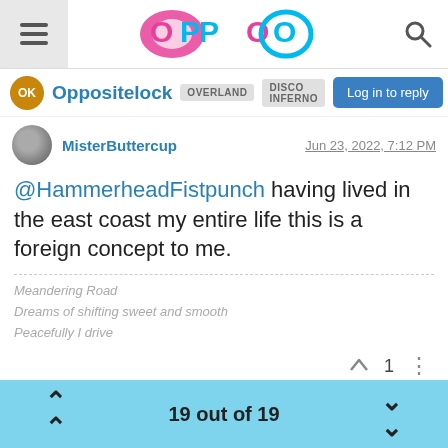OPPO — Oppositelock | OVERLAND | DISCO INFERNO | Log in to reply
MisterButtercup   Jun 23, 2022, 7:12 PM
@HammerheadFistpunch having lived in the east coast my entire life this is a foreign concept to me.
Meandering Road
Dreams of shifting sweet and smooth
Peacefully I drive
—
Referenced by  AkioOhtori
19 out of 19